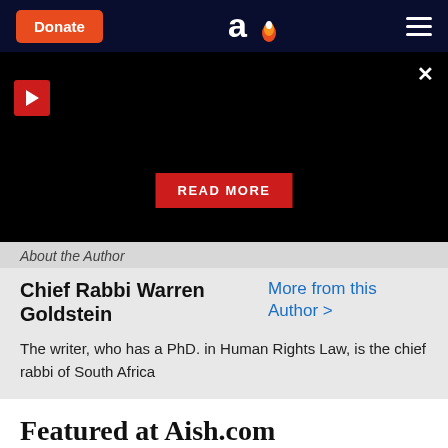Donate | Aish.com logo | Menu
[Figure (screenshot): Dark video player area with play button (red), close X button, and red READ MORE button]
About the Author
Chief Rabbi Warren Goldstein
More from this Author >
The writer, who has a PhD. in Human Rights Law, is the chief rabbi of South Africa
Featured at Aish.com